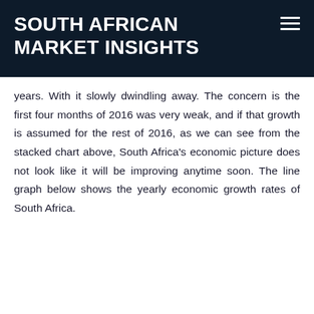SOUTH AFRICAN MARKET INSIGHTS
years. With it slowly dwindling away. The concern is the first four months of 2016 was very weak, and if that growth is assumed for the rest of 2016, as we can see from the stacked chart above, South Africa's economic picture does not look like it will be improving anytime soon. The line graph below shows the yearly economic growth rates of South Africa.